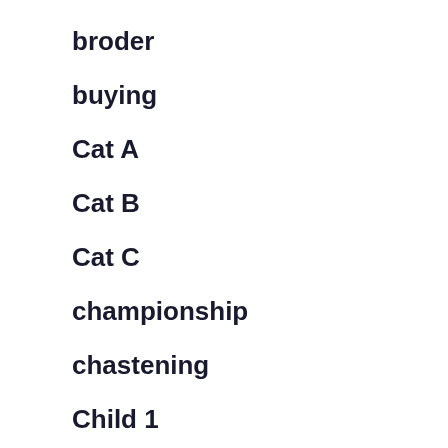broder
buying
Cat A
Cat B
Cat C
championship
chastening
Child 1